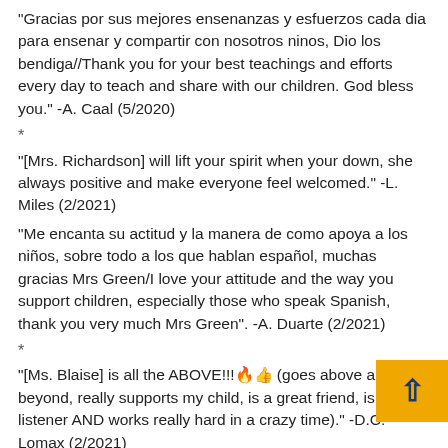“Gracias por sus mejores ensenanzas y esfuerzos cada dia para ensenar y compartir con nosotros ninos, Dio los bendiga//Thank you for your best teachings and efforts every day to teach and share with our children. God bless you.” -A. Caal (5/2020)
*
“[Mrs. Richardson] will lift your spirit when your down, she always positive and make everyone feel welcomed.” -L. Miles (2/2021)
“Me encanta su actitud y la manera de como apoya a los niños, sobre todo a los que hablan español, muchas gracias Mrs Green/I love your attitude and the way you support children, especially those who speak Spanish, thank you very much Mrs Green”. -A. Duarte (2/2021)
*
“[Ms. Blaise] is all the ABOVE!!!🔥👍 (goes above and beyond, really supports my child, is a great friend, is a great listener AND works really hard in a crazy time).” -D.C. Lomax (2/2021)